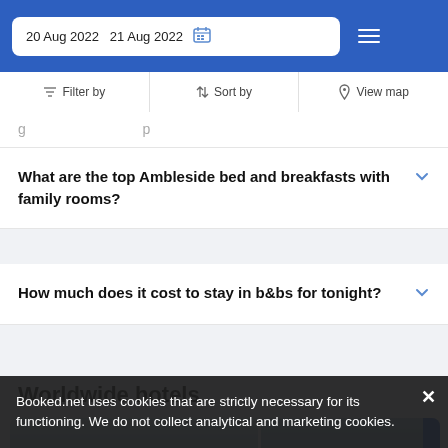20 Aug 2022   21 Aug 2022
Filter by   Sort by   View map
[truncated accordion item top]
What are the top Ambleside bed and breakfasts with family rooms?
How much does it cost to stay in b&bs for tonight?
Worldwide hotels
Booked.net uses cookies that are strictly necessary for its functioning. We do not collect analytical and marketing cookies.